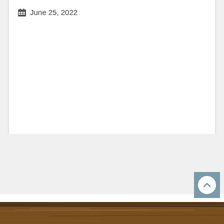June 25, 2022
[Figure (other): Scroll-to-top button (chevron up arrow in circle on blue-gray square background)]
[Figure (photo): Wood texture footer bar at bottom of page]